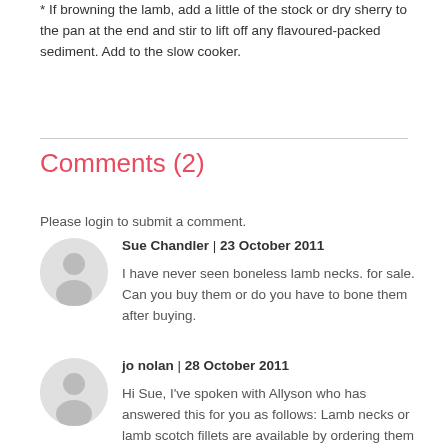* If browning the lamb, add a little of the stock or dry sherry to the pan at the end and stir to lift off any flavoured-packed sediment. Add to the slow cooker.
Comments (2)
Please login to submit a comment.
Sue Chandler | 23 October 2011
I have never seen boneless lamb necks. for sale. Can you buy them or do you have to bone them after buying.
jo nolan | 28 October 2011
Hi Sue, I've spoken with Allyson who has answered this for you as follows: Lamb necks or lamb scotch fillets are available by ordering them at your local butcher. They are not a standard cut in the supermarkets as that section is usually cut across the bone to get neck chops. They make a delicious meal, but if you cannot get them, try should or neck chops or even diced shoulder meat. Cheers A...